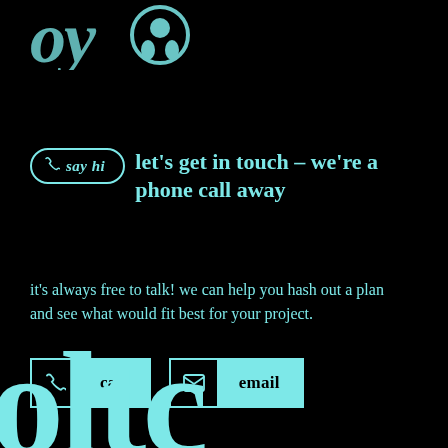[Figure (logo): Partial cropped decorative icons/characters at top of page in teal color]
let's get in touch – we're a phone call away
it's always free to talk! we can help you hash out a plan and see what would fit best for your project.
[Figure (infographic): Two CTA buttons: 'call' with phone icon and 'email' with envelope icon, teal on black]
[Figure (logo): Large partial teal serif text 'oltc' at bottom of page, cropped]